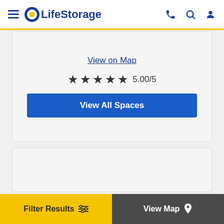[Figure (screenshot): LifeStorage website header with hamburger menu, logo, phone icon, search icon, and user icon]
View on Map
★★★★★ 5.00/5
View All Spaces
[Figure (screenshot): Empty gray card placeholder for a second storage facility listing]
Filter Results
View Map